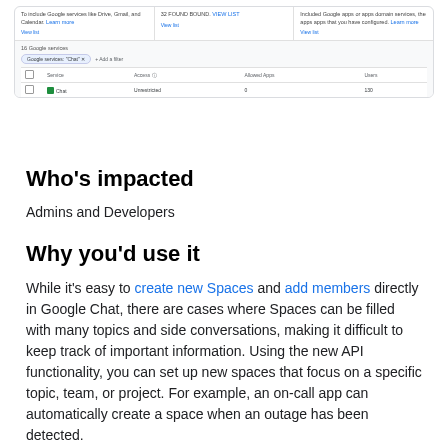[Figure (screenshot): Google Admin Console screenshot showing a filtered view of Google services with 'Google services: Chat' filter applied. A table shows Chat service with 'Unrestricted' access, 0 Allowed Apps, and 130 users.]
Who's impacted
Admins and Developers
Why you'd use it
While it's easy to create new Spaces and add members directly in Google Chat, there are cases where Spaces can be filled with many topics and side conversations, making it difficult to keep track of important information. Using the new API functionality, you can set up new spaces that focus on a specific topic, team, or project. For example, an on-call app can automatically create a space when an outage has been detected.